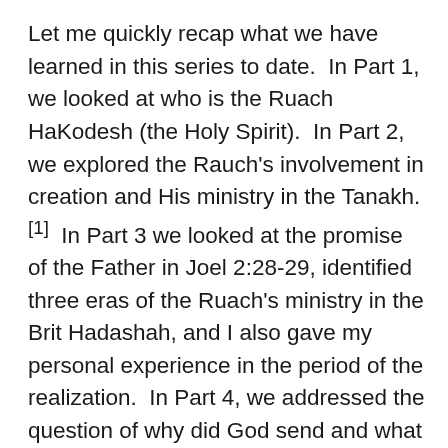Let me quickly recap what we have learned in this series to date.  In Part 1, we looked at who is the Ruach HaKodesh (the Holy Spirit).  In Part 2, we explored the Rauch's involvement in creation and His ministry in the Tanakh.[1]  In Part 3 we looked at the promise of the Father in Joel 2:28-29, identified three eras of the Ruach's ministry in the Brit Hadashah, and I also gave my personal experience in the period of the realization.  In Part 4, we addressed the question of why did God send and what is the ministry of the Ruach in this period of the realization.  Finally, in Part 5, we discussed when and how we are filled with the